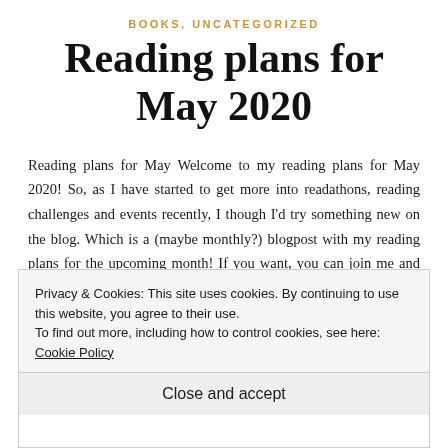BOOKS, UNCATEGORIZED
Reading plans for May 2020
Reading plans for May Welcome to my reading plans for May 2020! So, as I have started to get more into readathons, reading challenges and events recently, I though I’d try something new on the blog. Which is a (maybe monthly?) blogpost with my reading plans for the upcoming month! If you want, you can join me and the rest of the book-community in these events, and read along
Privacy & Cookies: This site uses cookies. By continuing to use this website, you agree to their use.
To find out more, including how to control cookies, see here: Cookie Policy

Close and accept